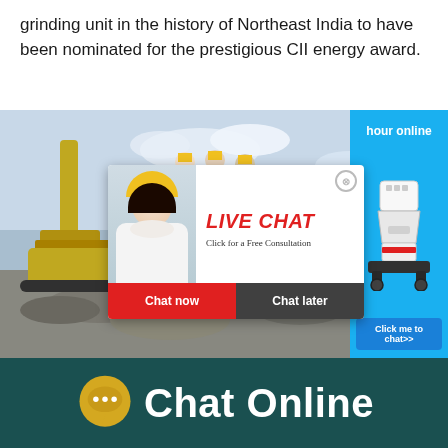grinding unit in the history of Northeast India to have been nominated for the prestigious CII energy award.
[Figure (screenshot): Construction site background image with a live chat popup overlay showing a woman in a hard hat, 'LIVE CHAT' heading in red, 'Click for a Free Consultation' subtitle, 'Chat now' red button and 'Chat later' dark button. A right sidebar shows a cone crusher machine image with 'hour online' text and 'Click me to chat>>' blue button.]
[Figure (infographic): Dark teal banner at the bottom with a golden/yellow chat bubble icon showing three dots and the text 'Chat Online' in white large bold font.]